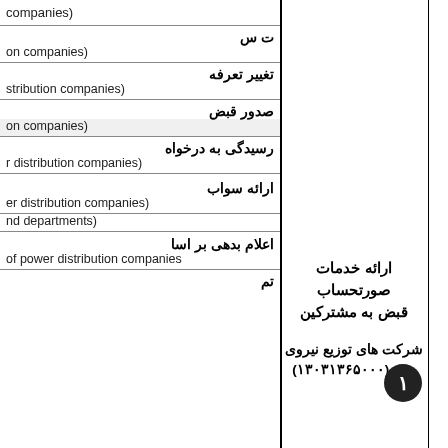| companies) |  |
| ت س |  |
| on companies) |  |
| تغییر تعرفه |  |
| stribution companies) |  |
| صدور قبض |  |
| on companies) |  |
| رسیدگی به درخواه |  |
| r distribution companies) |  |
| ارائه سواب |  |
| er distribution companies) |  |
| nd departments) |  |
| اعلام بدهی بر اسا |  |
| of power distribution companies |  |
| تم |  |
ارائه خدمات صورتحساب قبض به مشترکین
شرکت های توزیع نیروی برق (۱۳۰۳۱۳۶۵۰۰۰)
۱